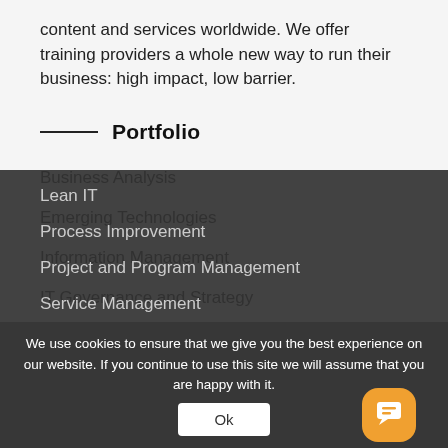content and services worldwide. We offer training providers a whole new way to run their business: high impact, low barrier.
Portfolio
Business Analysis
Emerging Technologies
Information Management
IT Governance and Strategy
Lean IT
Process Improvement
Project and Program Management
Service Management
We use cookies to ensure that we give you the best experience on our website. If you continue to use this site we will assume that you are happy with it.